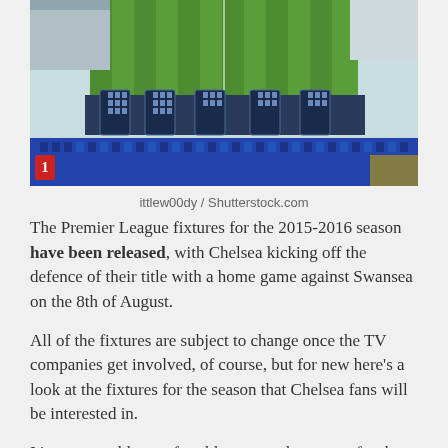[Figure (photo): Aerial/stand-level view of a football stadium with blue seats and green pitch visible, metal barriers in foreground]
ittlew00dy / Shutterstock.com
The Premier League fixtures for the 2015-2016 season have been released, with Chelsea kicking off the defence of their title with a home game against Swansea on the 8th of August.
All of the fixtures are subject to change once the TV companies get involved, of course, but for new here's a look at the fixtures for the season that Chelsea fans will be interested in.
It's a reasonably comfortable start to the season for the Blues, with games against Swansea, West Brom and Crystal Palace bracketing a tricky tie away to